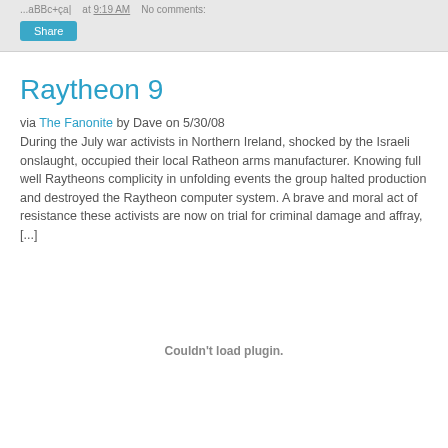...aBBc+ça|  at 9:19 AM  No comments:
Share
Raytheon 9
via The Fanonite by Dave on 5/30/08
During the July war activists in Northern Ireland, shocked by the Israeli onslaught, occupied their local Ratheon arms manufacturer. Knowing full well Raytheons complicity in unfolding events the group halted production and destroyed the Raytheon computer system. A brave and moral act of resistance these activists are now on trial for criminal damage and affray, [...]
Couldn't load plugin.